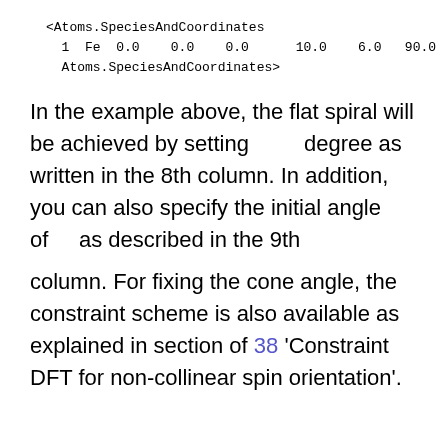<Atoms.SpeciesAndCoordinates
  1  Fe  0.0    0.0    0.0      10.0    6.0   90.0
 Atoms.SpeciesAndCoordinates>
In the example above, the flat spiral will be achieved by setting degree as written in the 8th column. In addition, you can also specify the initial angle of as described in the 9th
column. For fixing the cone angle, the constraint scheme is also available as explained in section of 38 'Constraint DFT for non-collinear spin orientation'.